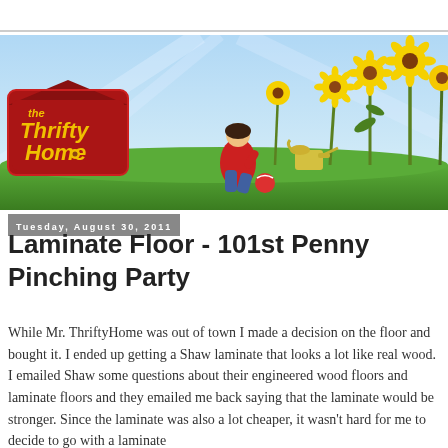[Figure (illustration): The Thrifty Home blog banner featuring a cartoon woman in red top and jeans sitting among sunflowers and green grass, with the logo 'the Thrifty Home' in a red barn-shaped badge with yellow text]
Tuesday, August 30, 2011
Laminate Floor - 101st Penny Pinching Party
While Mr. ThriftyHome was out of town I made a decision on the floor and bought it. I ended up getting a Shaw laminate that looks a lot like real wood. I emailed Shaw some questions about their engineered wood floors and laminate floors and they emailed me back saying that the laminate would be stronger. Since the laminate was also a lot cheaper, it wasn't hard for me to decide to go with a laminate